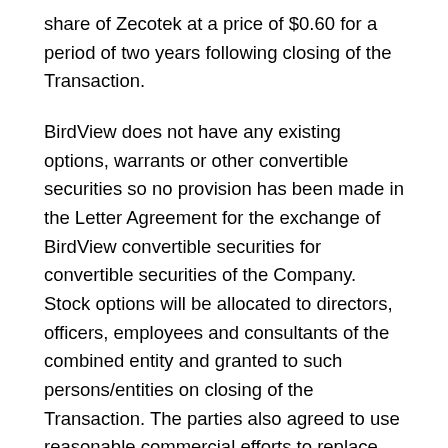share of Zecotek at a price of $0.60 for a period of two years following closing of the Transaction.
BirdView does not have any existing options, warrants or other convertible securities so no provision has been made in the Letter Agreement for the exchange of BirdView convertible securities for convertible securities of the Company. Stock options will be allocated to directors, officers, employees and consultants of the combined entity and granted to such persons/entities on closing of the Transaction. The parties also agreed to use reasonable commercial efforts to replace the letter agreement with a formal definitive agreement. However if the parties do not enter into a subsequent formal